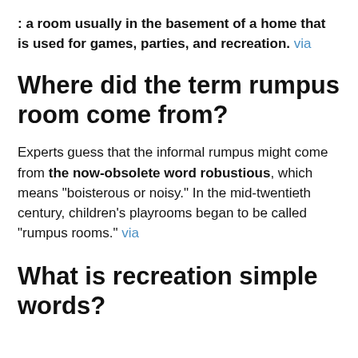: a room usually in the basement of a home that is used for games, parties, and recreation. via
Where did the term rumpus room come from?
Experts guess that the informal rumpus might come from the now-obsolete word robustious, which means "boisterous or noisy." In the mid-twentieth century, children's playrooms began to be called "rumpus rooms." via
What is recreation simple words?